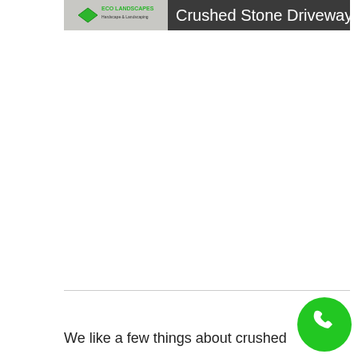[Figure (logo): Eco Landscapes banner with logo on the left showing a green diamond shape with 'ECO LANDSCAPES' text, and a dark banner on the right with white text reading 'Crushed Stone Driveway']
[Figure (illustration): Green circular phone/call button icon in the bottom-right area of the page]
We like a few things about crushed